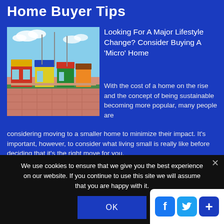Home Buyer Tips
[Figure (photo): Colorful small micro homes in a row with flagpoles, outdoor patio area with patterned ground.]
Looking For A Major Lifestyle Change? Consider Buying A 'Micro' Home
With the cost of a home on the rise and the concept of being sustainable becoming more popular, many people are considering moving to a smaller home to minimize their impact. It's important, however, to consider what living small is really like before deciding that it's the right move for you.
We use cookies to ensure that we give you the best experience on our website. If you continue to use this site we will assume that you are happy with it.
OK